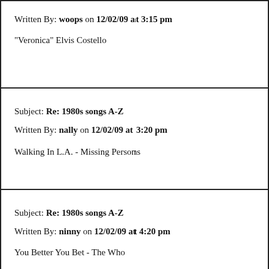Written By: woops on 12/02/09 at 3:15 pm
"Veronica" Elvis Costello
Subject: Re: 1980s songs A-Z
Written By: nally on 12/02/09 at 3:20 pm
Walking In L.A. - Missing Persons
Subject: Re: 1980s songs A-Z
Written By: ninny on 12/02/09 at 4:20 pm
You Better You Bet - The Who